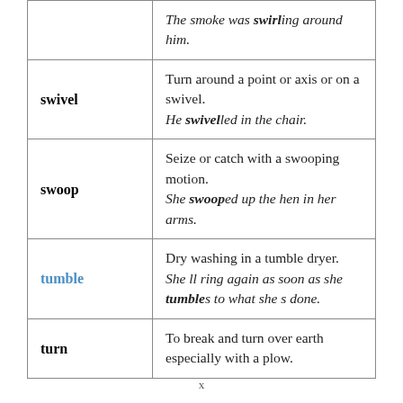| Word | Definition / Example |
| --- | --- |
| (swirl) | The smoke was swirling around him. |
| swivel | Turn around a point or axis or on a swivel.
He swivelled in the chair. |
| swoop | Seize or catch with a swooping motion.
She swooped up the hen in her arms. |
| tumble | Dry washing in a tumble dryer.
She ll ring again as soon as she tumbles to what she s done. |
| turn | To break and turn over earth especially with a plow. |
x